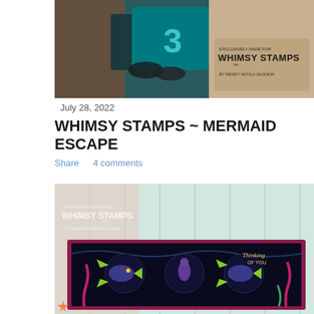[Figure (photo): Top banner photo showing crafting supplies with teal background and text 'EXCLUSIVELY MADE FOR WHIMSY STAMPS BY WENDY NICOLA JACKSON']
July 28, 2022
WHIMSY STAMPS ~ MERMAID ESCAPE
Share    4 comments
[Figure (photo): Photo of a handmade card with underwater ocean theme featuring tropical fish, seahorse, and seaweed on dark background with 'Thinking of YOU' text, placed on a light wood background. Whimsy Stamps branding visible.]